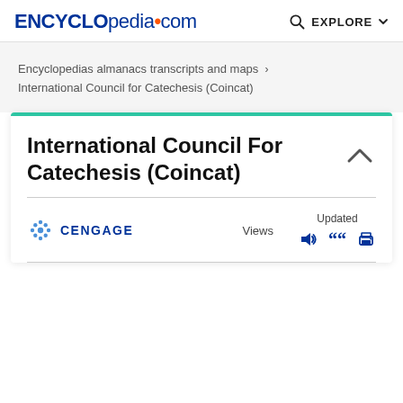ENCYCLopedia•com  EXPLORE
Encyclopedias almanacs transcripts and maps › International Council for Catechesis (Coincat)
International Council For Catechesis (Coincat)
[Figure (logo): Cengage logo with asterisk-like icon and CENGAGE text in dark blue]
Views
Updated